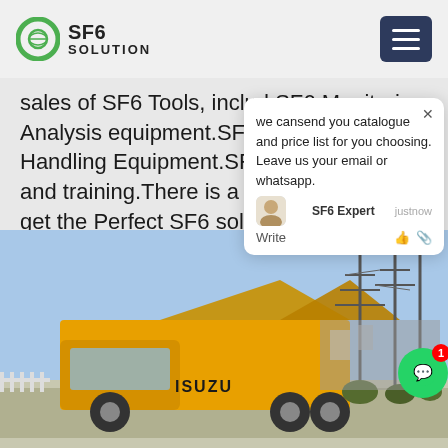SF6 SOLUTION
sales of SF6 Tools, includ SF6 Monitoring Analysis equipment.SF6 Recyling Handling Equipment.SF6 On-site service and training.There is a place where you'll get the Perfect SF6 solution for your needs. We have 421 employees, fa...
[Figure (photo): Yellow ISUZU truck with open-top cargo area parked at an industrial/electrical substation with power line towers in background, sunny day]
we cansend you catalogue and price list for you choosing. Leave us your email or whatsapp.
SF6 Expert   justnow
Write